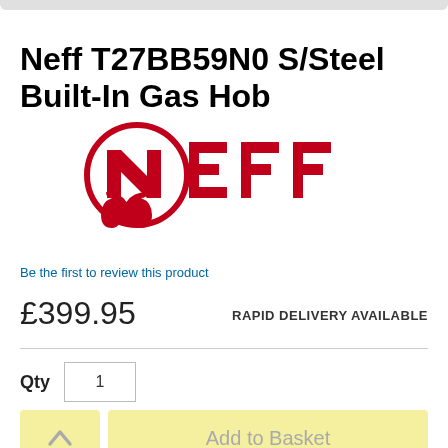Neff T27BB59N0 S/Steel Built-In Gas Hob
[Figure (logo): NEFF brand logo in red, featuring a circle with stylized N and omega symbol, followed by the letters EFF]
Be the first to review this product
£399.95
RAPID DELIVERY AVAILABLE
Qty  1
Add to Basket